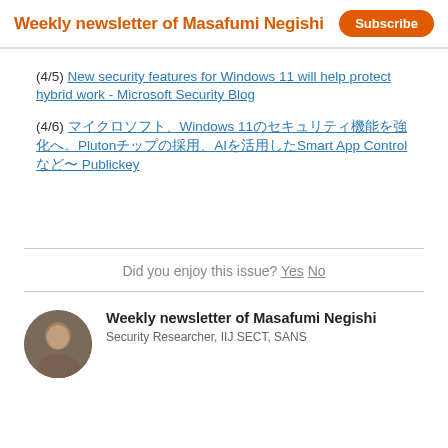Weekly newsletter of Masafumi Negishi | Subscribe
(4/5) New security features for Windows 11 will help protect hybrid work - Microsoft Security Blog
(4/6) マイクロソフト、Windows 11のセキュリティ機能を強化へ。Plutonチップの採用、AIを活用したSmart App Controlなど〜 Publickey
Did you enjoy this issue? Yes No
Weekly newsletter of Masafumi Negishi
Security Researcher, IIJ SECT, SANS